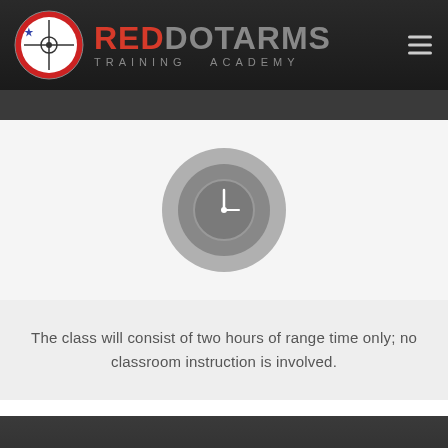[Figure (logo): Red Dot Arms Training Academy logo with circular emblem and brand name]
[Figure (illustration): Gray circular clock icon indicating time/duration]
The class will consist of two hours of range time only; no classroom instruction is involved.
Prerequisites: NO